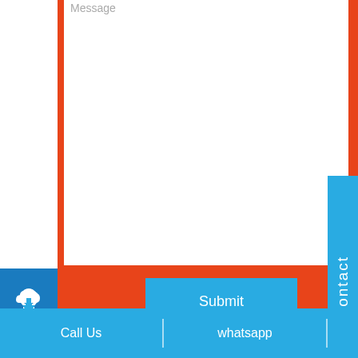[Figure (screenshot): Web page contact form with orange border textarea showing 'Message' placeholder text, a cyan Submit button, a blue download icon button on the left, and a blue vertical Contact sidebar on the right.]
Product categories
CAPSULES
DENTAL PRODUCTS
Call Us   |   whatsapp   |